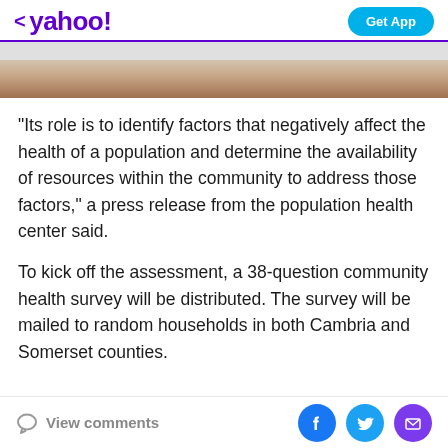< yahoo!  Get App
[Figure (photo): Partial photo visible at top of article — brown and tan tones, appears to be a person or food scene]
"Its role is to identify factors that negatively affect the health of a population and determine the availability of resources within the community to address those factors," a press release from the population health center said.
To kick off the assessment, a 38-question community health survey will be distributed. The survey will be mailed to random households in both Cambria and Somerset counties.
View comments  [Facebook] [Twitter] [Mail]